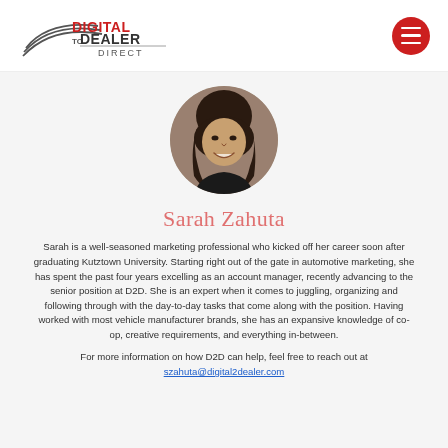[Figure (logo): Digital to Dealer Direct logo with swoosh graphic on left and hamburger menu circle button on right]
[Figure (photo): Circular profile photo of Sarah Zahuta, a smiling woman with dark hair]
Sarah Zahuta
Sarah is a well-seasoned marketing professional who kicked off her career soon after graduating Kutztown University. Starting right out of the gate in automotive marketing, she has spent the past four years excelling as an account manager, recently advancing to the senior position at D2D. She is an expert when it comes to juggling, organizing and following through with the day-to-day tasks that come along with the position. Having worked with most vehicle manufacturer brands, she has an expansive knowledge of co-op, creative requirements, and everything in-between.
For more information on how D2D can help, feel free to reach out at szahuta@digital2dealer.com